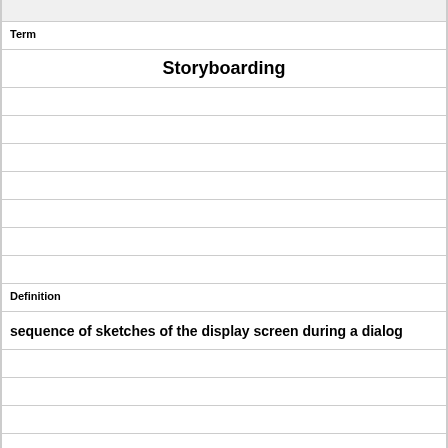|  |
| Term |
| Storyboarding |
|  |
|  |
|  |
|  |
|  |
|  |
| Definition |
| sequence of sketches of the display screen during a dialog |
|  |
|  |
|  |
|  |
|  |